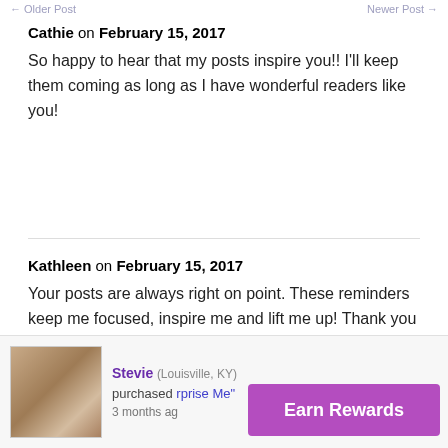← Older Post   Newer Post →
Cathie on February 15, 2017
So happy to hear that my posts inspire you!! I'll keep them coming as long as I have wonderful readers like you!
Kathleen on February 15, 2017
Your posts are always right on point. These reminders keep me focused, inspire me and lift me up! Thank you for all you do, Cathy!
[Figure (infographic): Notification bar showing Stevie from Louisville, KY purchased something with a purple 'Earn Rewards' button overlay. Includes a product photo thumbnail on the left.]